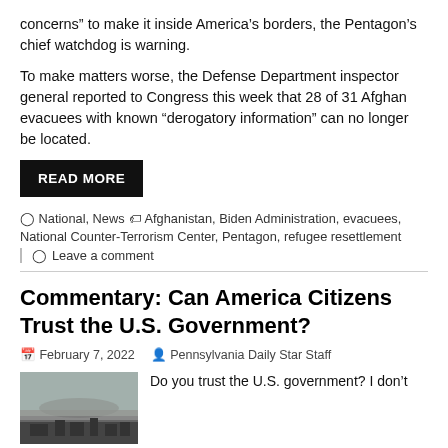concerns” to make it inside America’s borders, the Pentagon’s chief watchdog is warning.
To make matters worse, the Defense Department inspector general reported to Congress this week that 28 of 31 Afghan evacuees with known “derogatory information” can no longer be located.
READ MORE
National, News  •  Afghanistan, Biden Administration, evacuees, National Counter-Terrorism Center, Pentagon, refugee resettlement
Leave a comment
Commentary: Can America Citizens Trust the U.S. Government?
February 7, 2022   Pennsylvania Daily Star Staff
Do you trust the U.S. government? I don’t